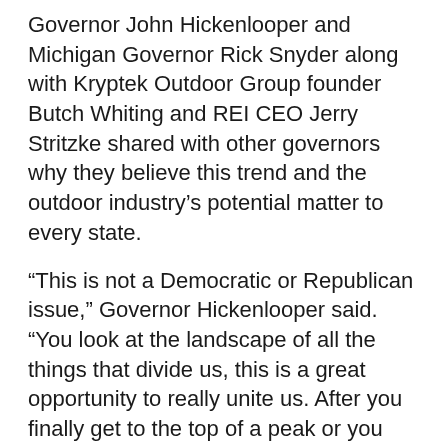Governor John Hickenlooper and Michigan Governor Rick Snyder along with Kryptek Outdoor Group founder Butch Whiting and REI CEO Jerry Stritzke shared with other governors why they believe this trend and the outdoor industry's potential matter to every state.
“This is not a Democratic or Republican issue,” Governor Hickenlooper said. “You look at the landscape of all the things that divide us, this is a great opportunity to really unite us. After you finally get to the top of a peak or you see the sunset at the end of a long day outdoors, you really do get a sense of why we all love where we are.”
Stritzke called public access to the outdoors a uniquely American concept. “If you sit for a minute and say, what’s amazing about your state? At some point, you’re going to begin to talk about the outdoor experiences associated with it,” he told the governors. “Born and raised in Oklahoma, I can’t hear a dove and not think